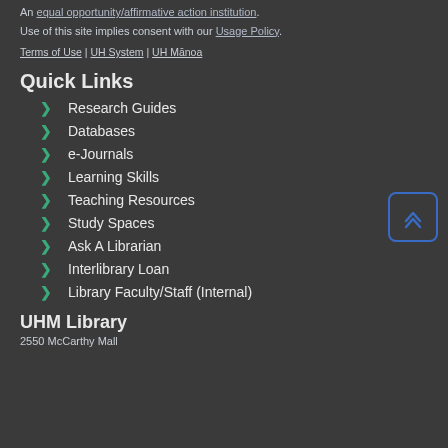An equal opportunity/affirmative action institution.
Use of this site implies consent with our Usage Policy.
Terms of Use | UH System | UH Mānoa
Quick Links
Research Guides
Databases
e-Journals
Learning Skills
Teaching Resources
Study Spaces
Ask A Librarian
Interlibrary Loan
Library Faculty/Staff (Internal)
UHM Library
2550 McCarthy Mall